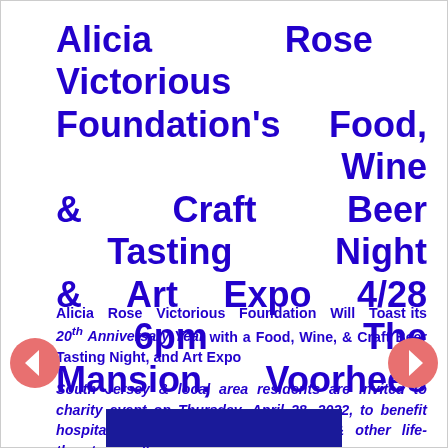Alicia Rose Victorious Foundation's Food, Wine & Craft Beer Tasting Night & Art Expo 4/28 6pm The Mansion, Voorhees
Alicia Rose Victorious Foundation Will Toast its 20th Anniversary Year with a Food, Wine, & Craft Beer Tasting Night, and Art Expo
South Jersey & local area residents are invited to charity event on Thursday, April 28, 2022, to benefit hospitalized children battling cancer & other life-threatening illnesses.